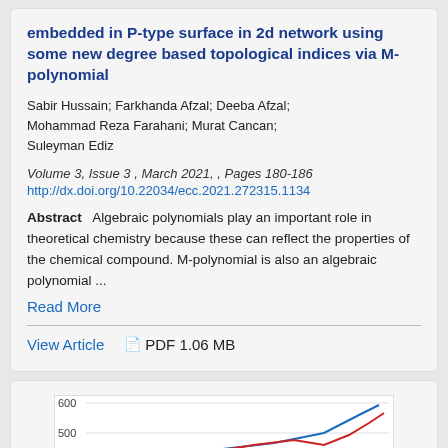embedded in P-type surface in 2d network using some new degree based topological indices via M-polynomial
Sabir Hussain; Farkhanda Afzal; Deeba Afzal; Mohammad Reza Farahani; Murat Cancan; Suleyman Ediz
Volume 3, Issue 3 , March 2021, , Pages 180-186
http://dx.doi.org/10.22034/ecc.2021.272315.1134
Abstract   Algebraic polynomials play an important role in theoretical chemistry because these can reflect the properties of the chemical compound. M-polynomial is also an algebraic polynomial ...
Read More
View Article
PDF 1.06 MB
[Figure (line-chart): Partial view of a line chart with y-axis showing values 500 and 600, with red and blue lines visible at the bottom of the page]